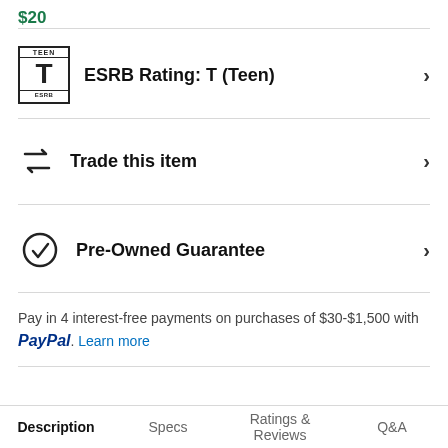$20
ESRB Rating: T (Teen)
Trade this item
Pre-Owned Guarantee
Pay in 4 interest-free payments on purchases of $30-$1,500 with PayPal. Learn more
Description  Specs  Ratings & Reviews  Q&A